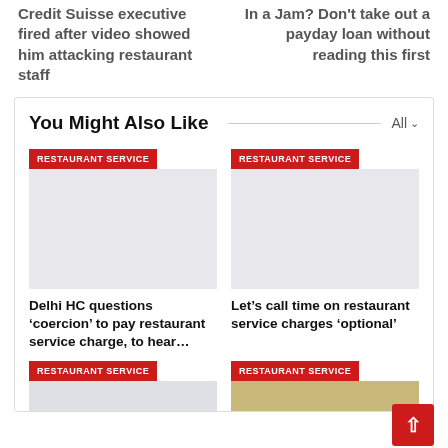Credit Suisse executive fired after video showed him attacking restaurant staff
In a Jam? Don't take out a payday loan without reading this first
You Might Also Like
[Figure (screenshot): Article card with red RESTAURANT SERVICE badge and gray placeholder image]
Delhi HC questions ‘coercion’ to pay restaurant service charge, to hear…
[Figure (screenshot): Article card with red RESTAURANT SERVICE badge and gray placeholder image]
Let’s call time on restaurant service charges ‘optional’
[Figure (screenshot): Bottom article card with red RESTAURANT SERVICE badge and partial green/yellow image]
[Figure (screenshot): Bottom article card with red RESTAURANT SERVICE badge and partial food image]